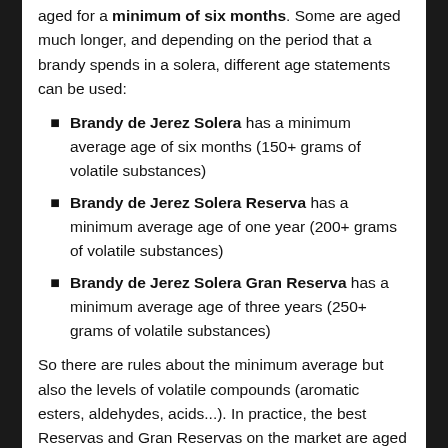aged for a minimum of six months. Some are aged much longer, and depending on the period that a brandy spends in a solera, different age statements can be used:
Brandy de Jerez Solera has a minimum average age of six months (150+ grams of volatile substances)
Brandy de Jerez Solera Reserva has a minimum average age of one year (200+ grams of volatile substances)
Brandy de Jerez Solera Gran Reserva has a minimum average age of three years (250+ grams of volatile substances)
So there are rules about the minimum average but also the levels of volatile compounds (aromatic esters, aldehydes, acids...). In practice, the best Reservas and Gran Reservas on the market are aged much longer than required, in order to gain more character and smoothness.